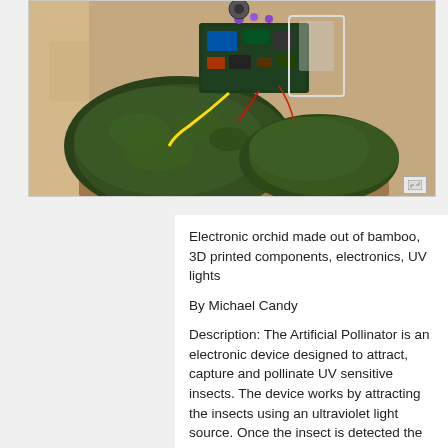[Figure (photo): Electronic orchid device — moss-covered rocks with electronics, circuit board, wires, and 3D printed components mounted on a wooden board]
Electronic orchid made out of bamboo, 3D printed components, electronics, UV lights
By Michael Candy
Description: The Artificial Pollinator is an electronic device designed to attract, capture and pollinate UV sensitive insects. The device works by attracting the insects using an ultraviolet light source. Once the insect is detected the device closes and releases artificial